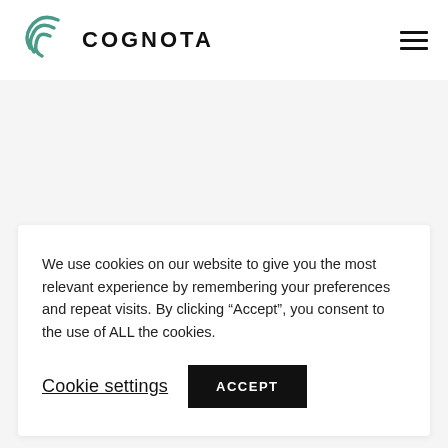COGNOTA
We use cookies on our website to give you the most relevant experience by remembering your preferences and repeat visits. By clicking “Accept”, you consent to the use of ALL the cookies.
Cookie settings  ACCEPT